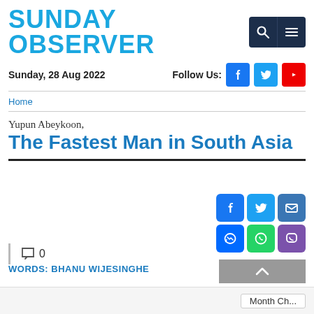SUNDAY OBSERVER
Sunday, 28 Aug 2022   Follow Us:
Home
Yupun Abeykoon,
The Fastest Man in South Asia
💬 0
WORDS: BHANU WIJESINGHE